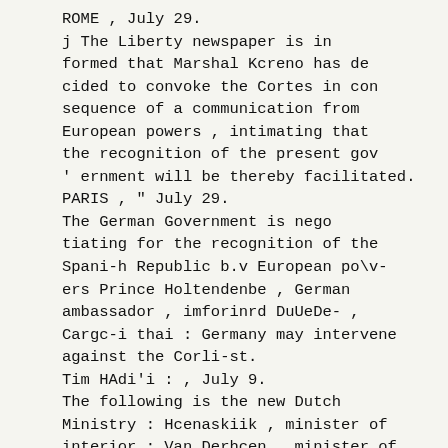ROME , July 29.
j The Liberty newspaper is in formed that Marshal Kcreno has de cided to convoke the Cortes in con sequence of a communication from European powers , intimating that the recognition of the present gov ' ernment will be thereby facilitated.
PARIS , " July 29.
The German Government is nego tiating for the recognition of the Spani-h Republic b.v European po\v- ers Prince Holtendenbe , German ambassador , imforinrd DuUeDe- , Cargc-i thai : Germany may intervene against the Corli-st.
Tim HAdi'i : , July 9.
The following is the new Dutch Ministry : Hcenaskiik , minister of interior ; Van Derhcen , minister of